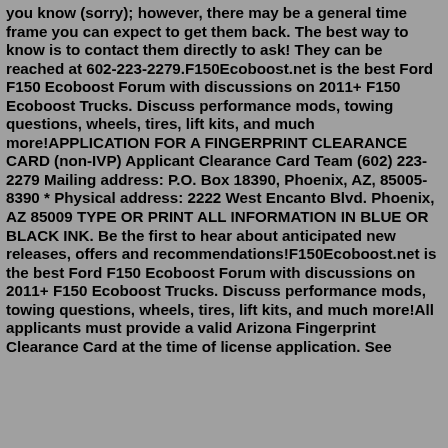you know (sorry); however, there may be a general time frame you can expect to get them back. The best way to know is to contact them directly to ask! They can be reached at 602-223-2279.F150Ecoboost.net is the best Ford F150 Ecoboost Forum with discussions on 2011+ F150 Ecoboost Trucks. Discuss performance mods, towing questions, wheels, tires, lift kits, and much more!APPLICATION FOR A FINGERPRINT CLEARANCE CARD (non-IVP) Applicant Clearance Card Team (602) 223-2279 Mailing address: P.O. Box 18390, Phoenix, AZ, 85005-8390 * Physical address: 2222 West Encanto Blvd. Phoenix, AZ 85009 TYPE OR PRINT ALL INFORMATION IN BLUE OR BLACK INK. Be the first to hear about anticipated new releases, offers and recommendations!F150Ecoboost.net is the best Ford F150 Ecoboost Forum with discussions on 2011+ F150 Ecoboost Trucks. Discuss performance mods, towing questions, wheels, tires, lift kits, and much more!All applicants must provide a valid Arizona Fingerprint Clearance Card at the time of license application. See